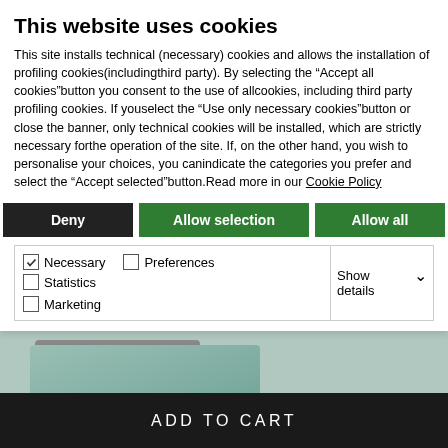This website uses cookies
This site installs technical (necessary) cookies and allows the installation of profiling cookies(includingthird party). By selecting the “Accept all cookies”button you consent to the use of allcookies, including third party profiling cookies. If youselect the “Use only necessary cookies”button or close the banner, only technical cookies will be installed, which are strictly necessary forthe operation of the site. If, on the other hand, you wish to personalise your choices, you canindicate the categories you prefer and select the “Accept selected”button.Read more in our Cookie Policy
Deny
Allow selection
Allow all
| Necessary | Preferences | Statistics | Show details |
| Marketing |  |  |  |
[Figure (photo): Product photo of green/sage colored bed sheets on a bed with a headboard visible in background]
ADD TO CART